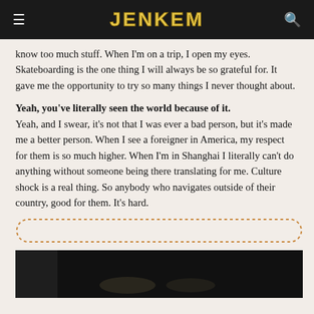JENKEM
know too much stuff. When I'm on a trip, I open my eyes. Skateboarding is the one thing I will always be so grateful for. It gave me the opportunity to try so many things I never thought about.
Yeah, you've literally seen the world because of it. Yeah, and I swear, it's not that I was ever a bad person, but it's made me a better person. When I see a foreigner in America, my respect for them is so much higher. When I'm in Shanghai I literally can't do anything without someone being there translating for me. Culture shock is a real thing. So anybody who navigates outside of their country, good for them. It's hard.
[Figure (other): Dotted/stippled orange banner element used as a decorative separator or advertisement placeholder]
[Figure (photo): Dark photograph strip at the bottom of the page, nearly black with faint lighting in the center]